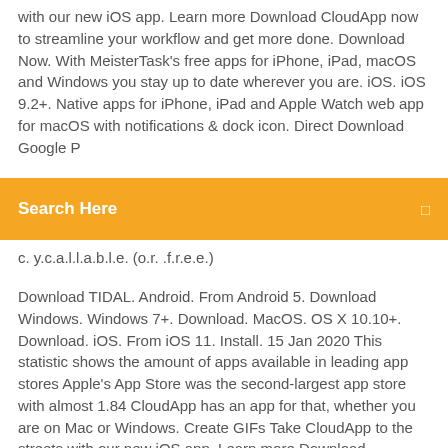with our new iOS app. Learn more Download CloudApp now to streamline your workflow and get more done. Download Now. With MeisterTask's free apps for iPhone, iPad, macOS and Windows you stay up to date wherever you are. iOS. iOS 9.2+. Native apps for iPhone, iPad and Apple Watch web app for macOS with notifications & dock icon. Direct Download  Google P...
[Figure (screenshot): Orange search bar UI element with 'Search Here' label in white bold text and a search icon on the right]
c. y.c.a.l.l.a.b.l.e. (o.r. .f.r.e.e.)
Download TIDAL. Android. From Android 5. Download Windows. Windows 7+. Download. MacOS. OS X 10.10+. Download. iOS. From iOS 11. Install. 15 Jan 2020 This statistic shows the amount of apps available in leading app stores Apple's App Store was the second-largest app store with almost 1.84 CloudApp has an app for that, whether you are on Mac or Windows. Create GIFs Take CloudApp to the streets with our new iOS app. Learn more Download CloudApp now to